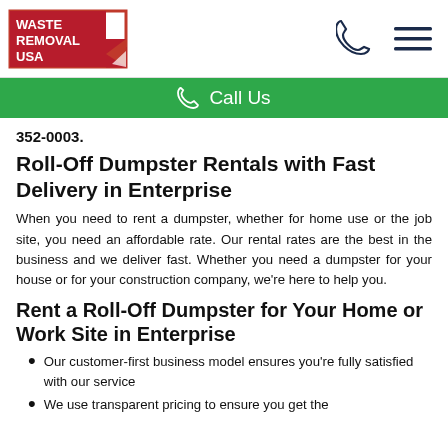Waste Removal USA [logo] | phone icon | menu icon
Call Us
352-0003.
Roll-Off Dumpster Rentals with Fast Delivery in Enterprise
When you need to rent a dumpster, whether for home use or the job site, you need an affordable rate. Our rental rates are the best in the business and we deliver fast. Whether you need a dumpster for your house or for your construction company, we're here to help you.
Rent a Roll-Off Dumpster for Your Home or Work Site in Enterprise
Our customer-first business model ensures you're fully satisfied with our service
We use transparent pricing to ensure you get the